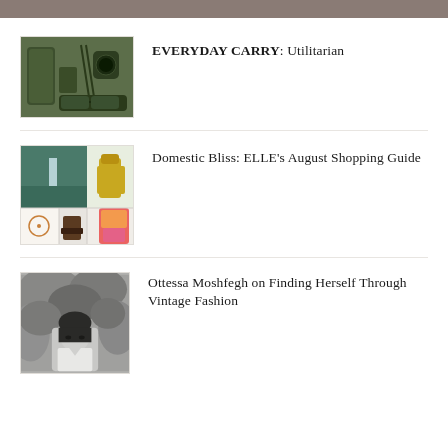EVERYDAY CARRY: Utilitarian
Domestic Bliss: ELLE's August Shopping Guide
Ottessa Moshfegh on Finding Herself Through Vintage Fashion